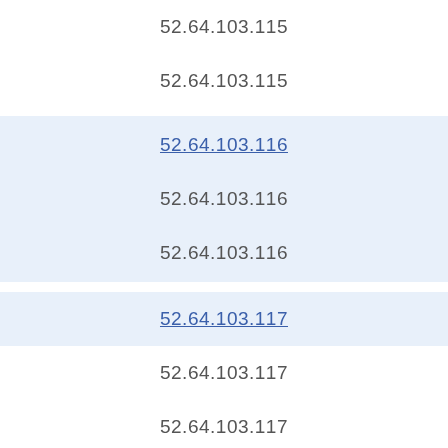52.64.103.115
52.64.103.115
52.64.103.116
52.64.103.116
52.64.103.116
52.64.103.117
52.64.103.117
52.64.103.117
52.64.103.118